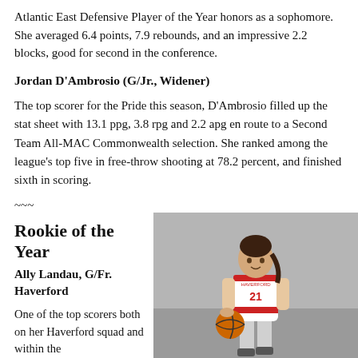Atlantic East Defensive Player of the Year honors as a sophomore. She averaged 6.4 points, 7.9 rebounds, and an impressive 2.2 blocks, good for second in the conference.
Jordan D'Ambrosio (G/Jr., Widener)
The top scorer for the Pride this season, D'Ambrosio filled up the stat sheet with 13.1 ppg, 3.8 rpg and 2.2 apg en route to a Second Team All-MAC Commonwealth selection. She ranked among the league's top five in free-throw shooting at 78.2 percent, and finished sixth in scoring.
~~~
Rookie of the Year
Ally Landau, G/Fr. Haverford
One of the top scorers both on her Haverford squad and within the
[Figure (photo): Female basketball player in Haverford red and white uniform number 21, dribbling a basketball, photographed in an indoor gym setting.]